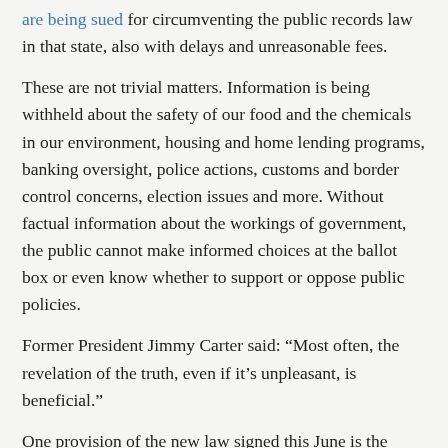are being sued for circumventing the public records law in that state, also with delays and unreasonable fees.
These are not trivial matters. Information is being withheld about the safety of our food and the chemicals in our environment, housing and home lending programs, banking oversight, police actions, customs and border control concerns, election issues and more. Without factual information about the workings of government, the public cannot make informed choices at the ballot box or even know whether to support or oppose public policies.
Former President Jimmy Carter said: “Most often, the revelation of the truth, even if it’s unpleasant, is beneficial.”
One provision of the new law signed this June is the formation of the Chief FOIA Officers Council (CFO), a group of federal agency FOIA officials who are charged with developing recommendations for increasing FOIA compliance and working on initiatives that will increase transparency. The group is holding a public meeting Sept. 15. Journalists and others interested are encouraged to attend.
It’s a good small step forward. But our leaders in Washington need to be doing more to ensure that there are the best...